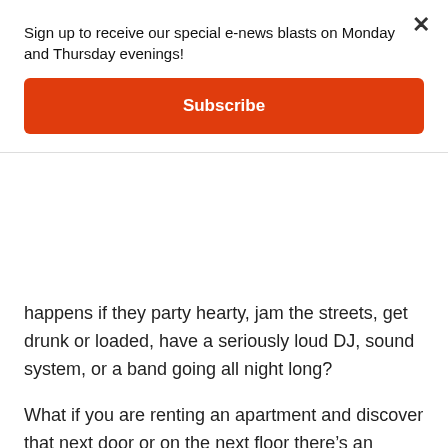Sign up to receive our special e-news blasts on Monday and Thursday evenings!
Subscribe
happens if they party hearty, jam the streets, get drunk or loaded, have a seriously loud DJ, sound system, or a band going all night long?
What if you are renting an apartment and discover that next door or on the next floor there’s an obnoxious Airbnb rental in place? What are the limits as to exactly what the City and the City Attorney can legally waive? Are real estate agents obligated to disclose if a property is adjacent to an Airbnb property?
I raise all of these questions because these are concerns